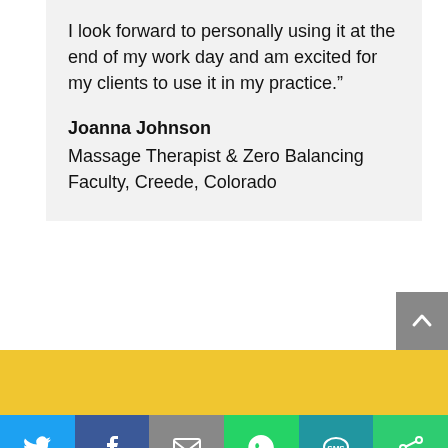I look forward to personally using it at the end of my work day and am excited for my clients to use it in my practice."
Joanna Johnson
Massage Therapist & Zero Balancing Faculty, Creede, Colorado
[Figure (other): Yellow footer bar and social sharing buttons: Twitter, Facebook, Email, WhatsApp, SMS, Share]